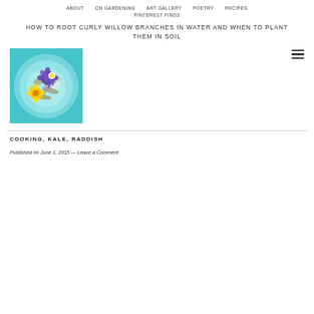ABOUT  ON GARDENING  ART GALLERY  POETRY  RECIPES  PINTEREST FINDS
HOW TO ROOT CURLY WILLOW BRANCHES IN WATER AND WHEN TO PLANT THEM IN SOIL
[Figure (photo): Overhead view of colorful edible flowers (purple, white, yellow) arranged in a light blue bowl on a teal/aqua background]
COOKING, KALE, RADDISH
Published on June 1, 2015 — Leave a Comment